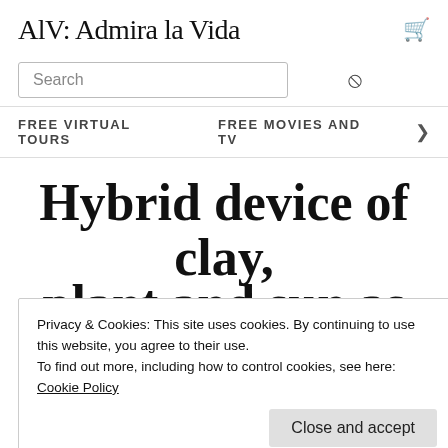AlV: Admira la Vida
Search
FREE VIRTUAL TOURS   FREE MOVIES AND TV
Hybrid device of clay, plant and sun as an energy source generator
Privacy & Cookies: This site uses cookies. By continuing to use this website, you agree to their use.
To find out more, including how to control cookies, see here: Cookie Policy
Close and accept